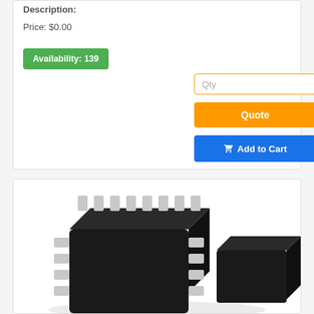Description:
Price: $0.00
Availability: 139
Qty
Quote
Add to Cart
[Figure (photo): Photo of a small black SMD IC chip (SOIC-8 package) with metal leads on the sides, shown at an angle with two chips visible.]